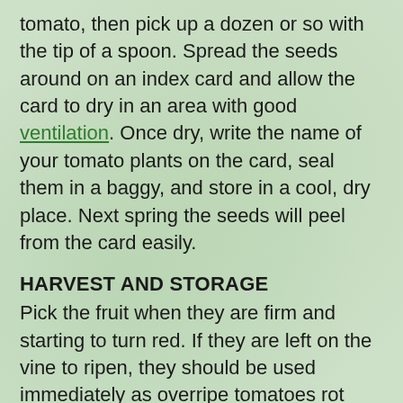tomato, then pick up a dozen or so with the tip of a spoon. Spread the seeds around on an index card and allow the card to dry in an area with good ventilation. Once dry, write the name of your tomato plants on the card, seal them in a baggy, and store in a cool, dry place. Next spring the seeds will peel from the card easily.
HARVEST AND STORAGE
Pick the fruit when they are firm and starting to turn red. If they are left on the vine to ripen, they should be used immediately as overripe tomatoes rot very quickly. The fruit can be eaten fresh, preserved whole in mason jars, or made into sauce or juice and preserved.
Fried Green Tomatoes